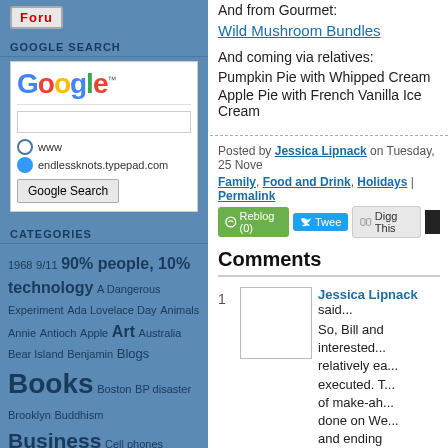[Figure (logo): Blog logo button with red 'Foru' text]
GOOGLE SEARCH
[Figure (screenshot): Google search widget with Google logo, search input, www radio button, endlessknots.typepad.com radio button selected, and Google Search button]
CATEGORIES
1968  9/11  90% people, 10% technology  A Dangerous Experiment  Ada Lovelace Day  Animals  Annie  Antioch  Apple  Art  Australia  Bear Island  Benjamin  Blogs  Books  Boston  BP disaster  Brooklyn  Buddhism  Business  Cell phones  Clients  Climate change  Coincidences  Collaboration  Communities of practice  Complexity  Consulting  Corporate governance  Courage
And from Gourmet:
Wild Mushroom Bundles
And coming via relatives:
Pumpkin Pie with Whipped Cream
Apple Pie with French Vanilla Ice Cream
Posted by Jessica Lipnack on Tuesday, 25 November
Family, Food and Drink, Holidays | Permalink
[Figure (screenshot): Action buttons: Reblog (0), Tweet, Digg This, and a black button]
Comments
1
[Figure (photo): Avatar photo placeholder box for Jessica Lipnack]
Jessica Lipnack said...
So, Bill and... interested... relatively ea... executed. T... of make-ah... done on We... and ending...